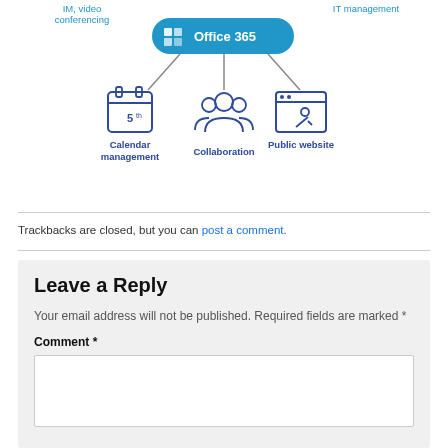[Figure (infographic): Office 365 hub diagram showing connections to IM/video conferencing, IT management, Calendar management, Collaboration, and Public website icons arranged around a central Office 365 button.]
Trackbacks are closed, but you can post a comment.
Leave a Reply
Your email address will not be published. Required fields are marked *
Comment *